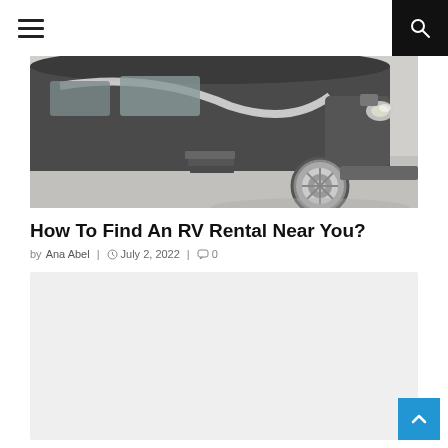Navigation menu and search icon
[Figure (photo): Close-up photo of a large dark-colored motorhome/RV showing the front cab area, steps, and large chrome wheel on a concrete surface]
How To Find An RV Rental Near You?
by Ana Abel   July 2, 2022   0
[Figure (other): Gray placeholder content box (advertisement or embedded content area)]